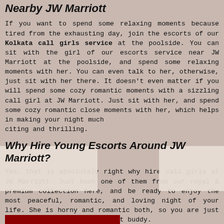Nearby JW Marriott
If you want to spend some relaxing moments because tired from the exhausting day, join the escorts of our Kolkata call girls service at the poolside. You can sit with the girl of our escorts service near JW Marriott at the poolside, and spend some relaxing moments with her. You can even talk to her, otherwise, just sit with her there. It doesn't even matter if you will spend some cozy romantic moments with a sizzling call girl at JW Marriott. Just sit with her, and spend some cozy romantic close moments with her, which helps in making your night much exciting and thrilling.
Why Hire Young Escorts Around JW Marriott?
Yes, that is absolutely right why hire call girls at JW Marriott. Just book one of them from our royal & premium collection here, and be ready to enjoy the most peaceful, romantic, and loving night of your life. She is horny and romantic both, so you are just going to enjoy an exotic night buddy.